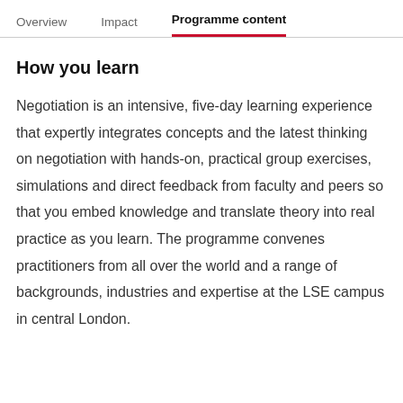Overview   Impact   Programme content
How you learn
Negotiation is an intensive, five-day learning experience that expertly integrates concepts and the latest thinking on negotiation with hands-on, practical group exercises, simulations and direct feedback from faculty and peers so that you embed knowledge and translate theory into real practice as you learn. The programme convenes practitioners from all over the world and a range of backgrounds, industries and expertise at the LSE campus in central London.